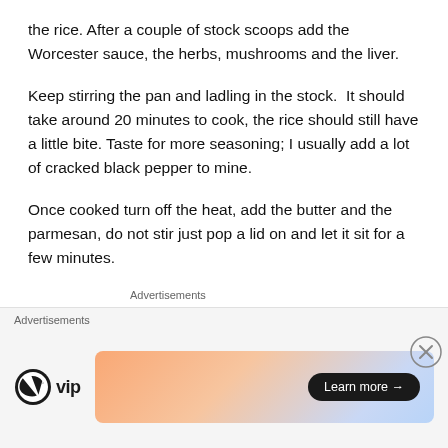the rice. After a couple of stock scoops add the Worcester sauce, the herbs, mushrooms and the liver.
Keep stirring the pan and ladling in the stock.  It should take around 20 minutes to cook, the rice should still have a little bite. Taste for more seasoning; I usually add a lot of cracked black pepper to mine.
Once cooked turn off the heat, add the butter and the parmesan, do not stir just pop a lid on and let it sit for a few minutes.
Advertisements
Build a writing habit
Advertisements
[Figure (other): WordPress VIP advertisement banner with gradient background and Learn more button]